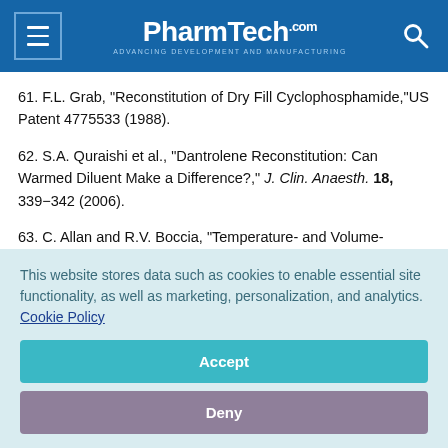PharmTech.com — ADVANCING DEVELOPMENT AND MANUFACTURING
61. F.L. Grab, "Reconstitution of Dry Fill Cyclophosphamide,"US Patent 4775533 (1988).
62. S.A. Quraishi et al., "Dantrolene Reconstitution: Can Warmed Diluent Make a Difference?," J. Clin. Anaesth. 18, 339−342 (2006).
63. C. Allan and R.V. Boccia, "Temperature- and Volume-Dependent Dissolution of Amifostine 500 mg Reconstituted
This website stores data such as cookies to enable essential site functionality, as well as marketing, personalization, and analytics. Cookie Policy
Accept
Deny